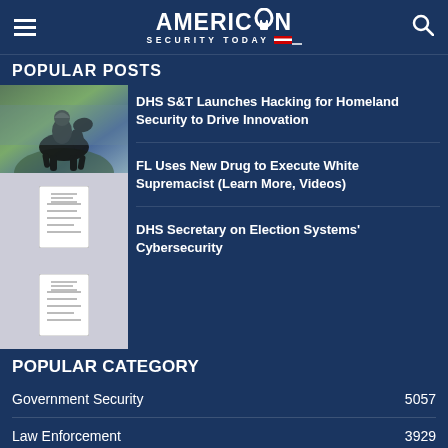American Security Today
POPULAR POSTS
DHS S&T Launches Hacking for Homeland Security to Drive Innovation
FL Uses New Drug to Execute White Supremacist (Learn More, Videos)
DHS Secretary on Election Systems' Cybersecurity
POPULAR CATEGORY
| Category | Count |
| --- | --- |
| Government Security | 5057 |
| Law Enforcement | 3929 |
| Federal | 3833 |
| Disaster Preparedness | 3175 |